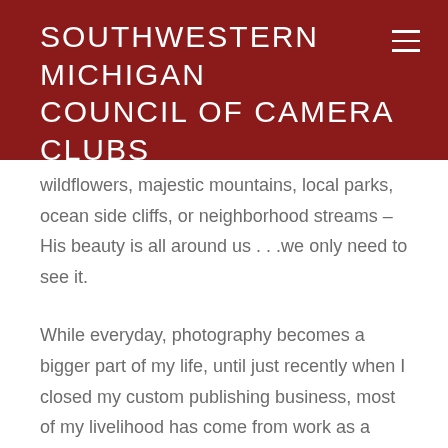SOUTHWESTERN MICHIGAN COUNCIL OF CAMERA CLUBS
wildflowers, majestic mountains, local parks, ocean side cliffs, or neighborhood streams – His beauty is all around us . . .we only need to see it.
While everyday, photography becomes a bigger part of my life, until just recently when I closed my custom publishing business, most of my livelihood has come from work as a magazine writer and editor. For several years now, my photography has been focused on leading nature photography workshops and creating images for gallery display and sales.
I currently lead multi-day workshops ranging from the